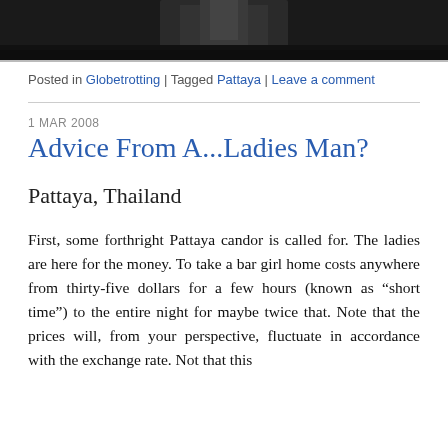[Figure (photo): Dark photo strip at top of page showing a figure, cropped to top portion only]
Posted in Globetrotting | Tagged Pattaya | Leave a comment
1 MAR 2008
Advice From A...Ladies Man?
Pattaya, Thailand
First, some forthright Pattaya candor is called for. The ladies are here for the money. To take a bar girl home costs anywhere from thirty-five dollars for a few hours (known as “short time”) to the entire night for maybe twice that. Note that the prices will, from your perspective, fluctuate in accordance with the exchange rate. Not that this